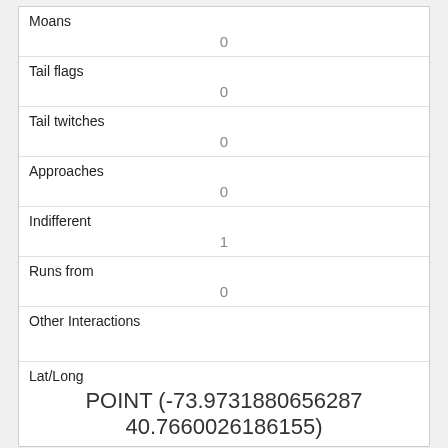| Moans | 0 |
| Tail flags | 0 |
| Tail twitches | 0 |
| Approaches | 0 |
| Indifferent | 1 |
| Runs from | 0 |
| Other Interactions |  |
| Lat/Long | POINT (-73.9731880656287 40.7660026186155) |
| Link | 1201 |
| rowid | 1201 |